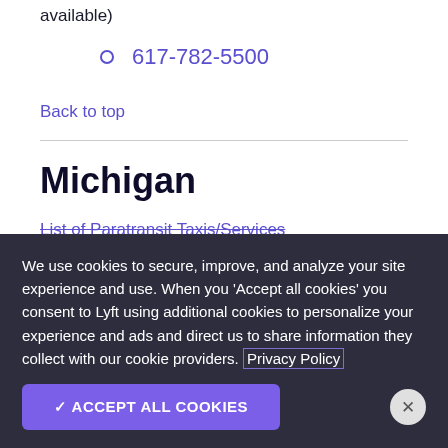available)
617-782-5500
Back to top
Michigan
List of Paratransit Taxis/Services
We use cookies to secure, improve, and analyze your site experience and use. When you 'Accept all cookies' you consent to Lyft using additional cookies to personalize your experience and ads and direct us to share information they collect with our cookie providers. Privacy Policy
✓ ACCEPT ALL COOKIES